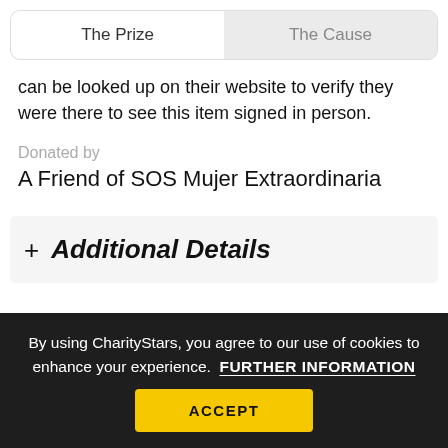The Prize | The Cause
can be looked up on their website to verify they were there to see this item signed in person.
Donated by
A Friend of SOS Mujer Extraordinaria
+ Additional Details
By using CharityStars, you agree to our use of cookies to enhance your experience. FURTHER INFORMATION
ACCEPT